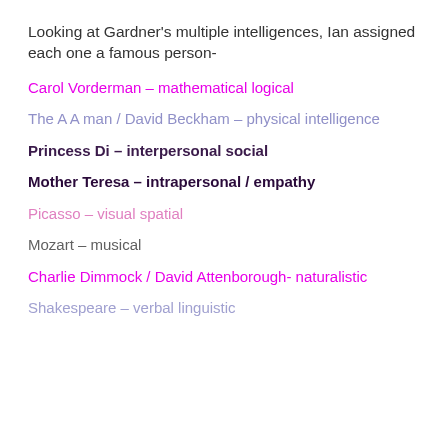Looking at Gardner's multiple intelligences, Ian assigned each one a famous person-
Carol Vorderman – mathematical logical
The A A man / David Beckham – physical intelligence
Princess Di – interpersonal social
Mother Teresa – intrapersonal / empathy
Picasso – visual spatial
Mozart – musical
Charlie Dimmock / David Attenborough- naturalistic
Shakespeare – verbal linguistic